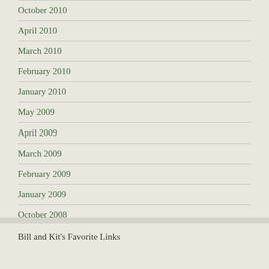October 2010
April 2010
March 2010
February 2010
January 2010
May 2009
April 2009
March 2009
February 2009
January 2009
October 2008
September 2008
Bill and Kit's Favorite Links